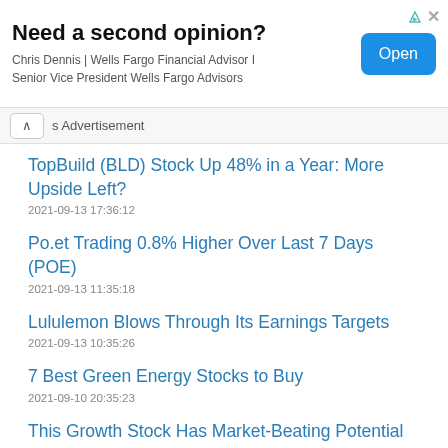[Figure (other): Advertisement banner: 'Need a second opinion?' — Chris Dennis | Wells Fargo Financial Advisor I Senior Vice President Wells Fargo Advisors, with an Open button]
s Advertisement
TopBuild (BLD) Stock Up 48% in a Year: More Upside Left?
2021-09-13 17:36:12
Po.et Trading 0.8% Higher Over Last 7 Days (POE)
2021-09-13 11:35:18
Lululemon Blows Through Its Earnings Targets
2021-09-13 10:35:26
7 Best Green Energy Stocks to Buy
2021-09-10 20:35:23
This Growth Stock Has Market-Beating Potential
2021-09-10 10:35:31